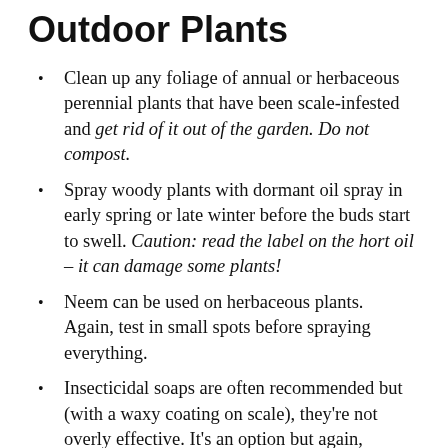Outdoor Plants
Clean up any foliage of annual or herbaceous perennial plants that have been scale-infested and get rid of it out of the garden. Do not compost.
Spray woody plants with dormant oil spray in early spring or late winter before the buds start to swell. Caution: read the label on the hort oil – it can damage some plants!
Neem can be used on herbaceous plants. Again, test in small spots before spraying everything.
Insecticidal soaps are often recommended but (with a waxy coating on scale), they're not overly effective. It's an option but again,